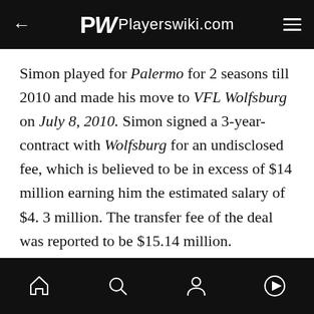PW Playerswiki.com
Simon played for Palermo for 2 seasons till 2010 and made his move to VFL Wolfsburg on July 8, 2010. Simon signed a 3-year-contract with Wolfsburg for an undisclosed fee, which is believed to be in excess of $14 million earning him the estimated salary of $4. 3 million. The transfer fee of the deal was reported to be $15.14 million.
ADVERTISEMENT
navigation icons: home, search, profile, play